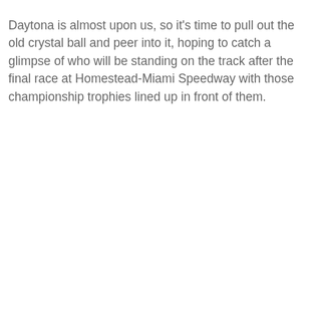Daytona is almost upon us, so it's time to pull out the old crystal ball and peer into it, hoping to catch a glimpse of who will be standing on the track after the final race at Homestead-Miami Speedway with those championship trophies lined up in front of them.